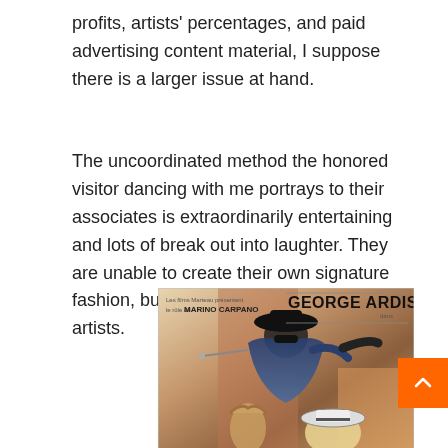profits, artists' percentages, and paid advertising content material, I suppose there is a larger issue at hand.
The uncoordinated method the honored visitor dancing with me portrays to their associates is extraordinarily entertaining and lots of break out into laughter. They are unable to create their own signature fashion, but they perceive themselves as artists.
[Figure (photo): Movie poster featuring a masked Zorro-like character in a black cape and hat, sword raised, with text 'GEORGE ARDISSON' prominently displayed at the top right, and 'MARINO CARPANO' in smaller text at the top left. The poster has a red-orange and cream color palette with dramatic action scene.]